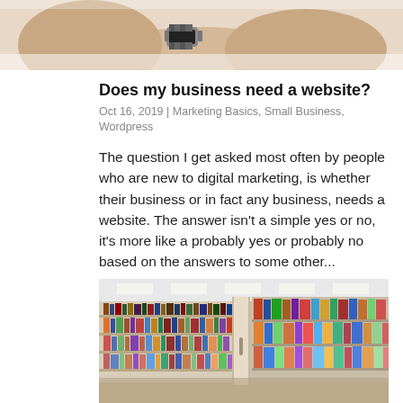[Figure (photo): Partial photo showing a person's arm and wrist with a watch, appears to be cropped at top of page]
Does my business need a website?
Oct 16, 2019 | Marketing Basics, Small Business, Wordpress
The question I get asked most often by people who are new to digital marketing, is whether their business or in fact any business, needs a website. The answer isn't a simple yes or no, it's more like a probably yes or probably no based on the answers to some other...
[Figure (photo): Photo of a library interior showing rows of bookshelves filled with colorful books]